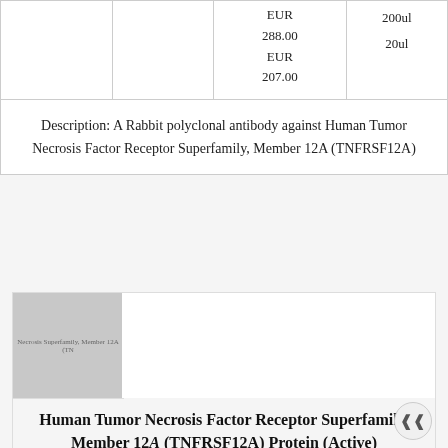|  |  | Price | Size |
| --- | --- | --- | --- |
|  |  | EUR
288.00
EUR
207.00 | 200ul
20ul |
Description: A Rabbit polyclonal antibody against Human Tumor Necrosis Factor Receptor Superfamily, Member 12A (TNFRSF12A)
[Figure (photo): Placeholder image for Human Tumor Necrosis Factor Receptor Superfamily, Member 12A (TNFRSF12A) protein product]
Human Tumor Necrosis Factor Receptor Superfamily, Member 12A (TNFRSF12A) Protein (Active)